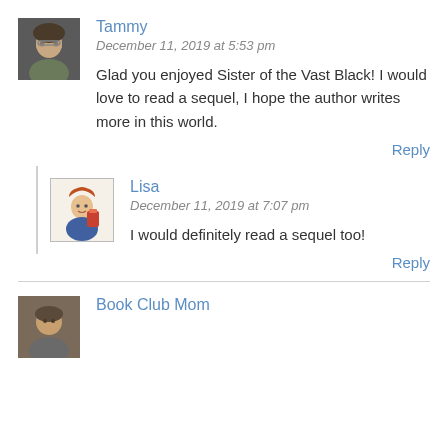[Figure (photo): Avatar photo of Tammy, a woman with glasses]
Tammy
December 11, 2019 at 5:53 pm
Glad you enjoyed Sister of the Vast Black! I would love to read a sequel, I hope the author writes more in this world.
Reply
[Figure (illustration): Avatar illustration of Lisa, an animated woman with red hair holding a book]
Lisa
December 11, 2019 at 7:07 pm
I would definitely read a sequel too!
Reply
[Figure (photo): Avatar photo of Book Club Mom]
Book Club Mom